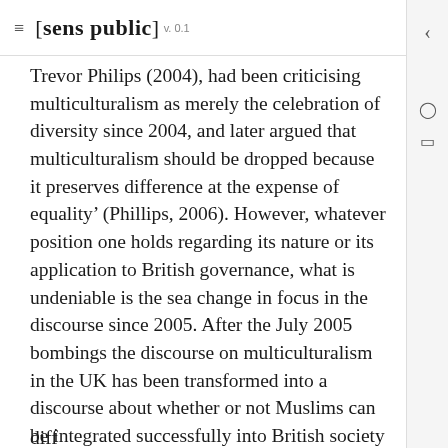[sens public] v. 0.1
Trevor Philips (2004), had been criticising multiculturalism as merely the celebration of diversity since 2004, and later argued that multiculturalism should be dropped because it preserves difference at the expense of equality' (Phillips, 2006). However, whatever position one holds regarding its nature or its application to British governance, what is undeniable is the sea change in focus in the discourse since 2005. After the July 2005 bombings the discourse on multiculturalism in the UK has been transformed into a discourse about whether or not Muslims can be integrated successfully into British society (Allen, 2007) 5 . The old recognition of diff...